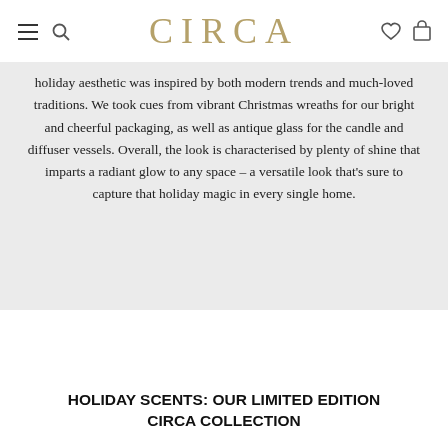CIRCA
holiday aesthetic was inspired by both modern trends and much-loved traditions. We took cues from vibrant Christmas wreaths for our bright and cheerful packaging, as well as antique glass for the candle and diffuser vessels. Overall, the look is characterised by plenty of shine that imparts a radiant glow to any space – a versatile look that's sure to capture that holiday magic in every single home.
HOLIDAY SCENTS: OUR LIMITED EDITION CIRCA COLLECTION
We've ushered in two exclusive Christmas fragrances